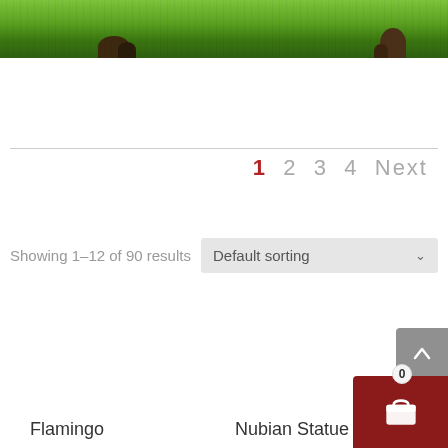[Figure (photo): Partial view of green garden/shrubs with tree trunks at bottom, cropped at top of page]
1  2  3  4  Next
Showing 1–12 of 90 results
Default sorting
Flamingo
Nubian Statue